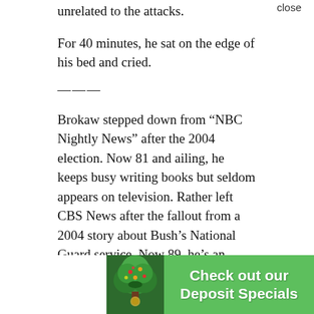unrelated to the attacks.
For 40 minutes, he sat on the edge of his bed and cried.
———
Brokaw stepped down from “NBC Nightly News” after the 2004 election. Now 81 and ailing, he keeps busy writing books but seldom appears on television. Rather left CBS News after the fallout from a 2004 story about Bush’s National Guard service. Now 89, he’s an energetic tweeter about politics and the media.
New anchors are in their old roles at ABC (David Muir), CBS (Norah O’Donnell) and NBC (Lester Holt).
If a
[Figure (other): Advertisement banner: tree logo on green background with text 'Check out our Deposit Specials']